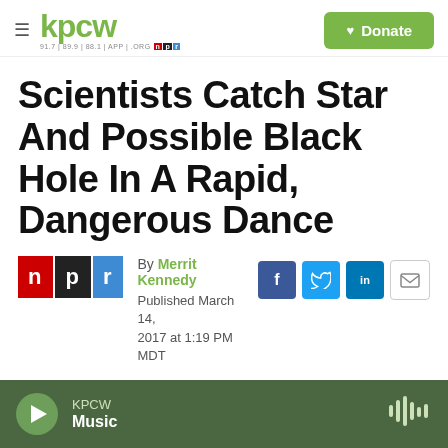kpcw — 91.7 | 89.9 | 88.1 | APP | .ORG  NPR  Donate
Scientists Catch Star And Possible Black Hole In A Rapid, Dangerous Dance
By Merrit Kennedy
Published March 14, 2017 at 1:19 PM MDT
KPCW Music